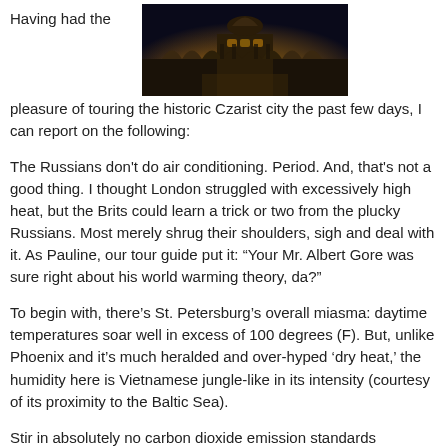[Figure (photo): Night photograph of a historic Russian Orthodox church or palace with arched architecture, illuminated in golden and amber tones against a dark sky.]
Having had the pleasure of touring the historic Czarist city the past few days, I can report on the following:
The Russians don't do air conditioning. Period. And, that's not a good thing. I thought London struggled with excessively high heat, but the Brits could learn a trick or two from the plucky Russians. Most merely shrug their shoulders, sigh and deal with it. As Pauline, our tour guide put it: “Your Mr. Albert Gore was sure right about his world warming theory, da?”
To begin with, there’s St. Petersburg’s overall miasma: daytime temperatures soar well in excess of 100 degrees (F). But, unlike Phoenix and it’s much heralded and over-hyped ‘dry heat,’ the humidity here is Vietnamese jungle-like in its intensity (courtesy of its proximity to the Baltic Sea).
Stir in absolutely no carbon dioxide emission standards whatsoever, never-ending road construction work which sears the air with a heady aroma of burning tar and a sun that, due to our